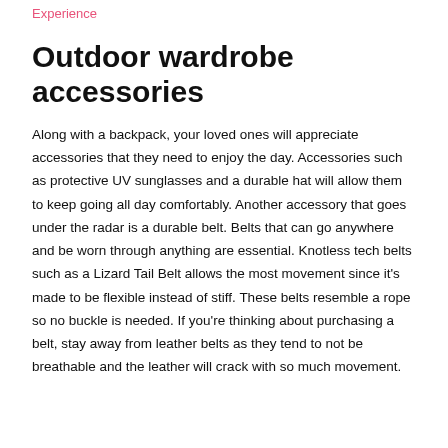Experience
Outdoor wardrobe accessories
Along with a backpack, your loved ones will appreciate accessories that they need to enjoy the day. Accessories such as protective UV sunglasses and a durable hat will allow them to keep going all day comfortably. Another accessory that goes under the radar is a durable belt. Belts that can go anywhere and be worn through anything are essential. Knotless tech belts such as a Lizard Tail Belt allows the most movement since it's made to be flexible instead of stiff. These belts resemble a rope so no buckle is needed. If you're thinking about purchasing a belt, stay away from leather belts as they tend to not be breathable and the leather will crack with so much movement.